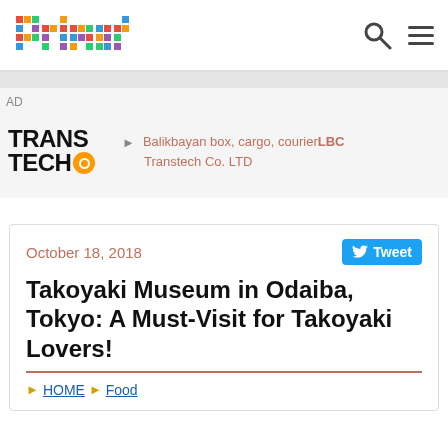primer [logo]
AD
[Figure (logo): Trans Tech logo with orange circle, advertisement banner with categories: Balikbayan box, cargo, courier LBC, Transtech Co. LTD]
October 18, 2018
Takoyaki Museum in Odaiba, Tokyo: A Must-Visit for Takoyaki Lovers!
HOME > Food